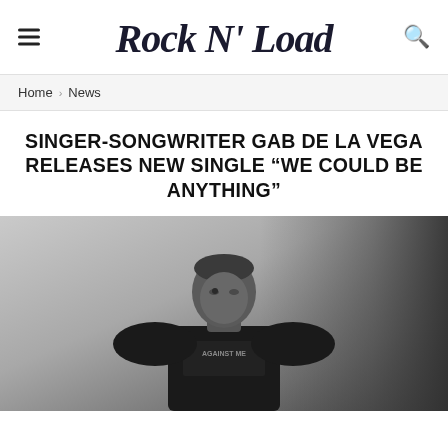Rock N' Load
Home > News
SINGER-SONGWRITER GAB DE LA VEGA RELEASES NEW SINGLE “WE COULD BE ANYTHING”
[Figure (photo): Black and white photograph of a young man wearing a black t-shirt that reads 'AGAINST ME', looking off to the side against a light grey background]